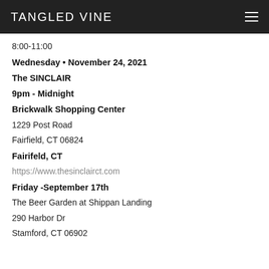TANGLED VINE
8:00-11:00
Wednesday • November 24, 2021
The SINCLAIR
9pm - Midnight
Brickwalk Shopping Center
1229 Post Road
Fairfield, CT 06824
Fairifeld, CT
https://www.thesinclairct.com
Friday -September 17th
The Beer Garden at Shippan Landing
290 Harbor Dr
Stamford, CT 06902